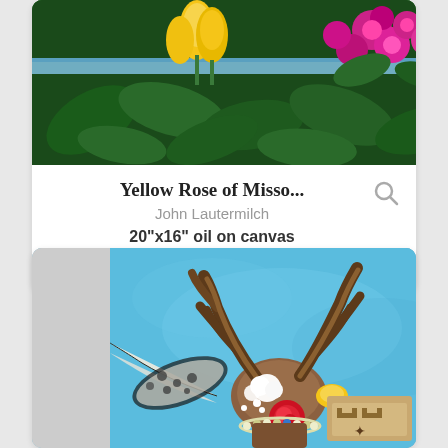[Figure (photo): Partial view of a colorful painting showing yellow tulips, green leaves, and pink/red flowers — cropped at top]
Yellow Rose of Misso...
John Lautermilch
20"x16" oil on canvas
$500.00
[Figure (photo): Painting showing a deer skull or headdress with large antlers against a blue background, decorated with feathers, flowers, beads, and Southwestern motifs]